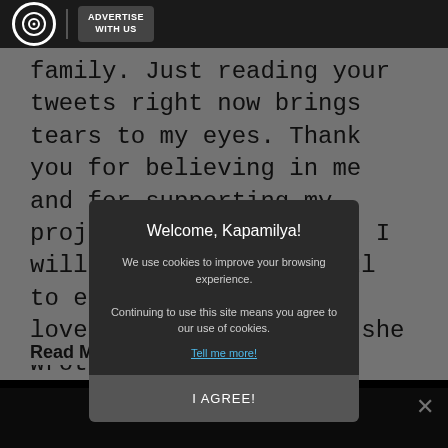ABS-CBN | ADVERTISE WITH US
family. Just reading your tweets right now brings tears to my eyes. Thank you for believing in me and for supporting my projects under ABS-CBN. I will forever be grateful to each and everyone. I love you all so much," she wrote.
Read More: ABS-CBN franchise
[Figure (screenshot): Cookie consent modal overlay with title 'Welcome, Kapamilya!', body text about cookies, 'Tell me more!' link, and 'I AGREE!' button on dark background]